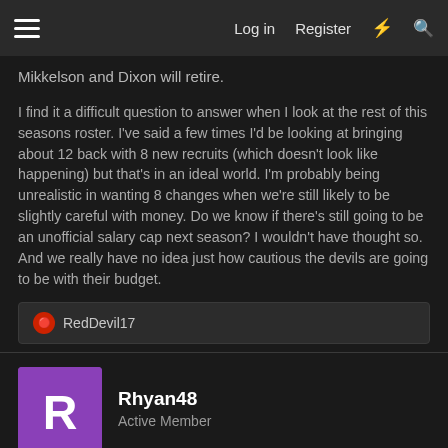≡   Log in   Register   ⚡   🔍
Mikkelson and Dixon will retire.
I find it a difficult question to answer when I look at the rest of this seasons roster. I've said a few times I'd be looking at bringing about 12 back with 8 new recruits (which doesn't look like happening) but that's in an ideal world. I'm probably being unrealistic in wanting 8 changes when we're still likely to be slightly careful with money. Do we know if there's still going to be an unofficial salary cap next season? I wouldn't have thought so. And we really have no idea just how cautious the devils are going to be with their budget.
RedDevil17
Rhyan48
Active Member
May 19, 2022
#4